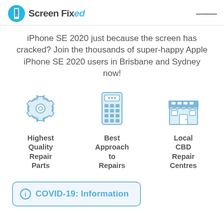Screen Fixed
iPhone SE 2020 just because the screen has cracked? Join the thousands of super-happy Apple iPhone SE 2020 users in Brisbane and Sydney now!
[Figure (illustration): Three blue outline icons: a gear/settings cog, a calculator, and a storefront/shop building]
Highest Quality Repair Parts
Best Approach to Repairs
Local CBD Repair Centres
COVID-19: Information